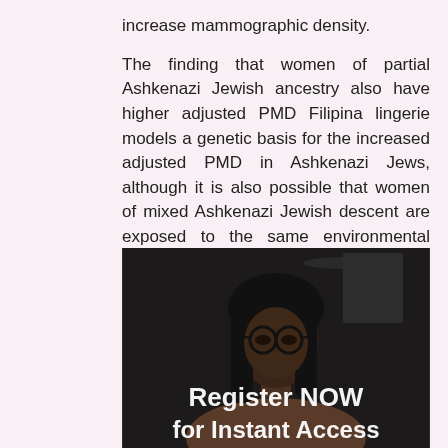increase mammographic density.
The finding that women of partial Ashkenazi Jewish ancestry also have higher adjusted PMD Filipina lingerie models a genetic basis for the increased adjusted PMD in Ashkenazi Jews, although it is also possible that women of mixed Ashkenazi Jewish descent are exposed to the same environmental factors as women of Ashkenazi Jewish descent.
[Figure (photo): Dark photo of a woman with glasses and long dark hair, with overlay text reading 'Register NOW for Instant Access']